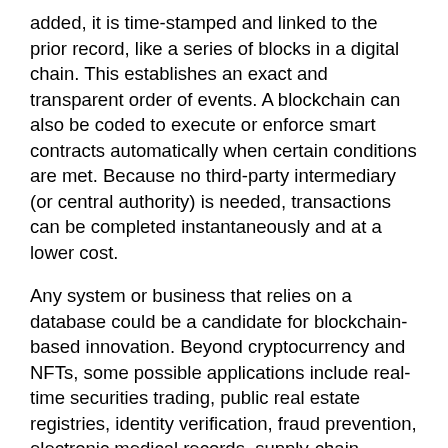added, it is time-stamped and linked to the prior record, like a series of blocks in a digital chain. This establishes an exact and transparent order of events. A blockchain can also be coded to execute or enforce smart contracts automatically when certain conditions are met. Because no third-party intermediary (or central authority) is needed, transactions can be completed instantaneously and at a lower cost.
Any system or business that relies on a database could be a candidate for blockchain-based innovation. Beyond cryptocurrency and NFTs, some possible applications include real-time securities trading, public real estate registries, identity verification, fraud prevention, electronic medical records, supply-chain tracking, and online voting, among others.
Opportunities and Costs
Widespread adoption could be years away, but blockchain may eventually be a transformative and/or disruptive force that creates a new set of winners and losers in the